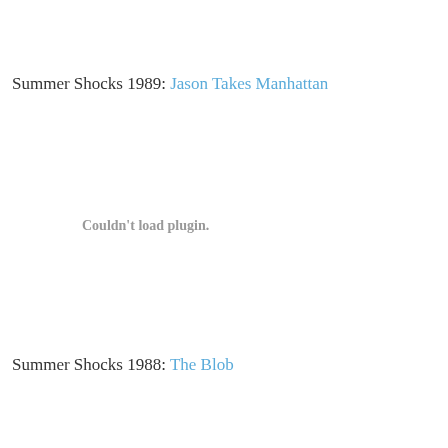Summer Shocks 1989: Jason Takes Manhattan
[Figure (other): Couldn't load plugin. placeholder area for embedded video or media plugin]
Summer Shocks 1988: The Blob